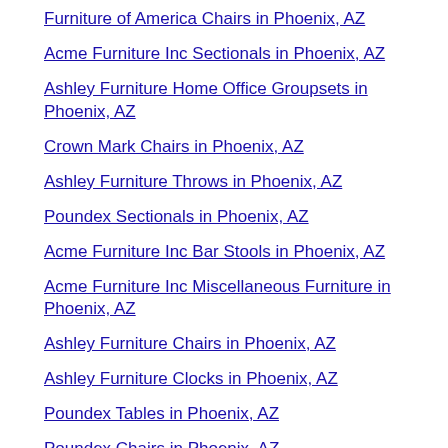Furniture of America Chairs in Phoenix, AZ
Acme Furniture Inc Sectionals in Phoenix, AZ
Ashley Furniture Home Office Groupsets in Phoenix, AZ
Crown Mark Chairs in Phoenix, AZ
Ashley Furniture Throws in Phoenix, AZ
Poundex Sectionals in Phoenix, AZ
Acme Furniture Inc Bar Stools in Phoenix, AZ
Acme Furniture Inc Miscellaneous Furniture in Phoenix, AZ
Ashley Furniture Chairs in Phoenix, AZ
Ashley Furniture Clocks in Phoenix, AZ
Poundex Tables in Phoenix, AZ
Poundex Chairs in Phoenix, AZ